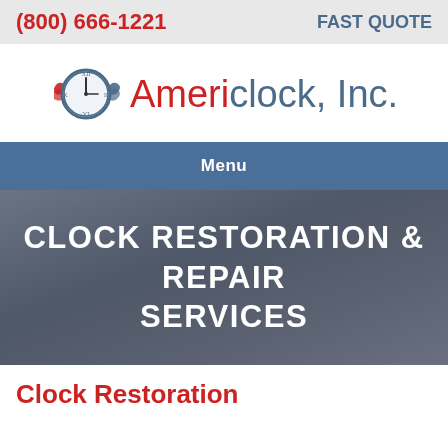(800) 666-1221  FAST QUOTE
[Figure (logo): Americlock, Inc. logo with a clock face surrounded by red and blue wave flags]
Menu
CLOCK RESTORATION & REPAIR SERVICES
Clock Restoration